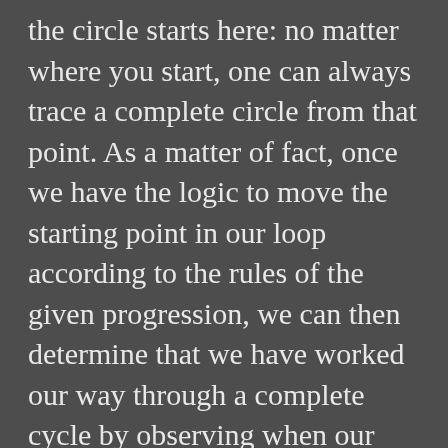the circle starts here: no matter where you start, one can always trace a complete circle from that point. As a matter of fact, once we have the logic to move the starting point in our loop according to the rules of the given progression, we can then determine that we have worked our way through a complete cycle by observing when our start point returns to 0. At this level of abstraction, we have completely abandoned our actual text; we don't even need the string anymore to do our math, and can just count the iterations. Neat!

It is worth noting before we get